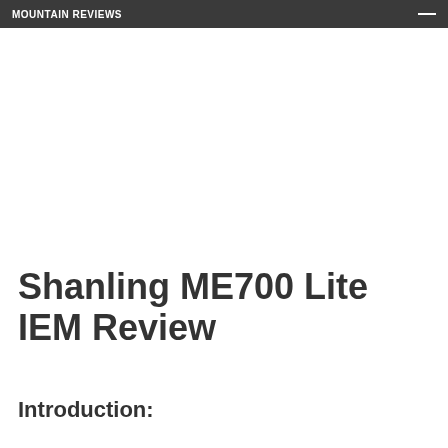MOUNTAIN Reviews
Shanling ME700 Lite IEM Review
Introduction: